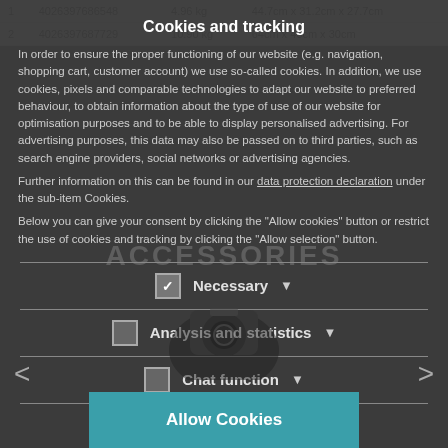|  |  |  |  |
| --- | --- | --- | --- |
| 1 | 4026397686548 | 4.96 kg | 44.7cm x 31.2cm x 27.7cm |
| 2 | 4026397687729 | 10.90 kg | 64cm x 46cm x 30cm |
Cookies and tracking
In order to ensure the proper functioning of our website (e.g. navigation, shopping cart, customer account) we use so-called cookies. In addition, we use cookies, pixels and comparable technologies to adapt our website to preferred behaviour, to obtain information about the type of use of our website for optimisation purposes and to be able to display personalised advertising. For advertising purposes, this data may also be passed on to third parties, such as search engine providers, social networks or advertising agencies.
Further information on this can be found in our data protection declaration under the sub-item Cookies.
Below you can give your consent by clicking the "Allow cookies" button or restrict the use of cookies and tracking by clicking the "Allow selection" button.
☑ Necessary ▾
☐ Analysis and statistics ▾
☐ Chat function ▾
Allow selection
Allow Cookies